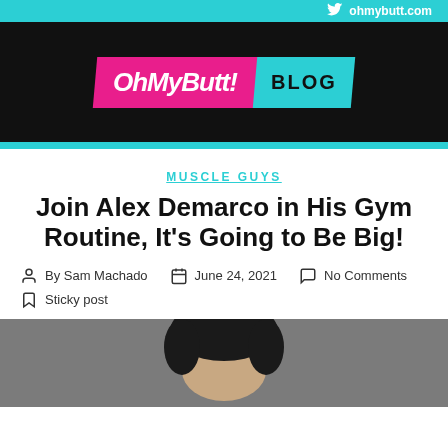ohmybutt.com
[Figure (logo): OhMyButt! Blog logo — pink skewed banner with white italic text 'OhMyButt!' and teal skewed panel with text 'BLOG', on black background]
MUSCLE GUYS
Join Alex Demarco in His Gym Routine, It's Going to Be Big!
By Sam Machado   June 24, 2021   No Comments   Sticky post
[Figure (photo): Partial photo showing top of a man's head with dark hair, photo cropped at the bottom of the page]